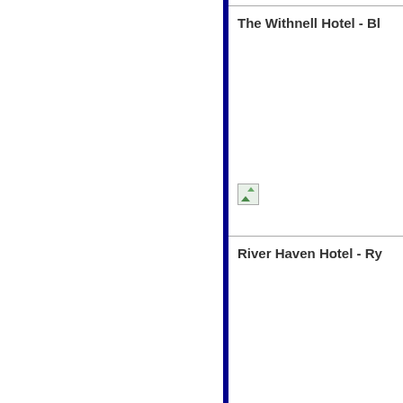The Withnell Hotel - Bl...
[Figure (other): Broken/unloaded image placeholder for The Withnell Hotel]
River Haven Hotel - Ry...
[Figure (other): Broken/unloaded image placeholder for River Haven Hotel]